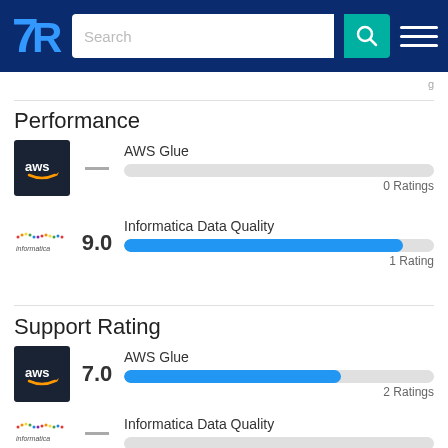TrustRadius navigation bar with search
Performance
AWS Glue — 0 Ratings
Informatica Data Quality 9.0 — 1 Rating
Support Rating
AWS Glue 7.0 — 2 Ratings
Informatica Data Quality — (partial)